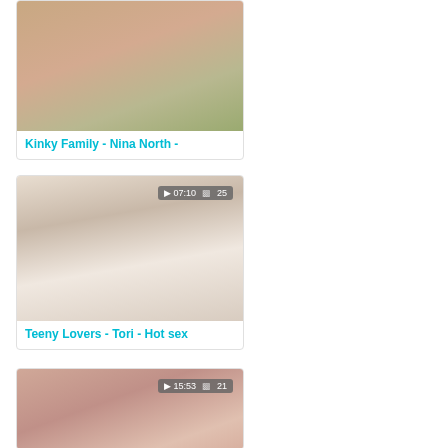[Figure (photo): Video thumbnail showing adult content - card 1 top, partially cropped]
Kinky Family - Nina North -
[Figure (photo): Video thumbnail with badge showing 07:10 and 25, adult content]
Teeny Lovers - Tori - Hot sex
[Figure (photo): Video thumbnail with badge showing 15:53 and 21, adult content, partially cut off at bottom]